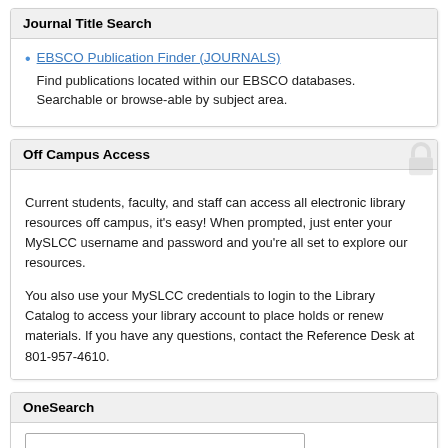Journal Title Search
EBSCO Publication Finder (JOURNALS) — Find publications located within our EBSCO databases. Searchable or browse-able by subject area.
Off Campus Access
Current students, faculty, and staff can access all electronic library resources off campus, it's easy!  When prompted, just enter your MySLCC username and password and you're all set to explore our resources.
You also use your MySLCC credentials to login to the Library Catalog to access your library account to place holds or renew materials.  If you have any questions, contact the Reference Desk at 801-957-4610.
OneSearch
[search input field]
[search button]